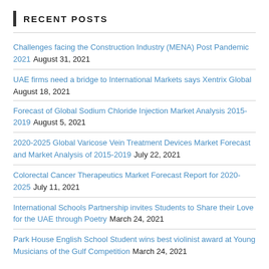RECENT POSTS
Challenges facing the Construction Industry (MENA) Post Pandemic 2021 August 31, 2021
UAE firms need a bridge to International Markets says Xentrix Global August 18, 2021
Forecast of Global Sodium Chloride Injection Market Analysis 2015-2019 August 5, 2021
2020-2025 Global Varicose Vein Treatment Devices Market Forecast and Market Analysis of 2015-2019 July 22, 2021
Colorectal Cancer Therapeutics Market Forecast Report for 2020-2025 July 11, 2021
International Schools Partnership invites Students to Share their Love for the UAE through Poetry March 24, 2021
Park House English School Student wins best violinist award at Young Musicians of the Gulf Competition March 24, 2021